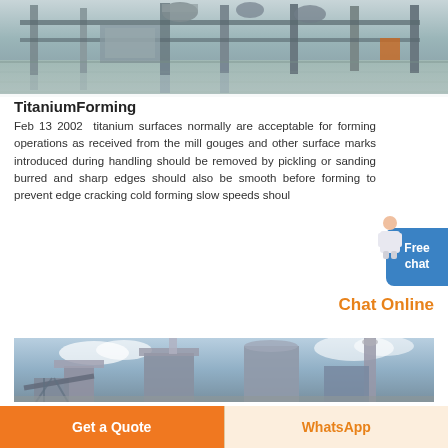[Figure (photo): Industrial titanium forming facility interior, showing large metal structures, pipes, and machinery on a reflective floor]
TitaniumForming
Feb 13 2002  titanium surfaces normally are acceptable for forming operations as received from the mill gouges and other surface marks introduced during handling should be removed by pickling or sanding burred and sharp edges should also be smooth before forming to prevent edge cracking cold forming slow speeds shoul
Chat Online
[Figure (photo): Industrial manufacturing plant exterior showing large silos, industrial equipment, dust collectors, and structural steel frameworks against a sky background]